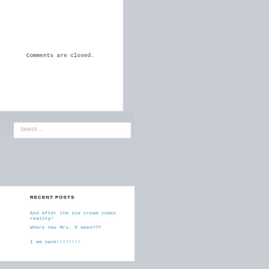Comments are closed.
Search …
RECENT POSTS
And after the ice cream comes reality!
Where has Mrs. X been???
I am back!!!!!!!!